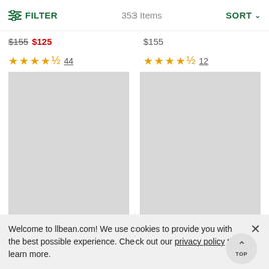FILTER   353 Items   SORT
$155 $125
$155
★★★★½ 44
★★★★½ 12
[Figure (photo): Product image placeholder (grey rectangle), left column]
[Figure (photo): Product image placeholder (grey rectangle), right column]
Isle Breeze Saltwater...
Adventure Dry We... TOP of
Welcome to llbean.com! We use cookies to provide you with the best possible experience. Check out our privacy policy to learn more.